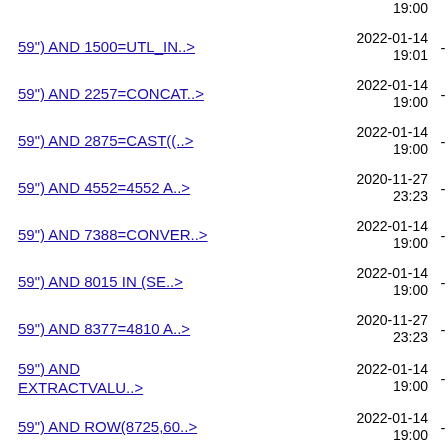19:00
59") AND 1500=UTL_IN..> | 2022-01-14 19:01 | -
59") AND 2257=CONCAT..> | 2022-01-14 19:00 | -
59") AND 2875=CAST((..> | 2022-01-14 19:00 | -
59") AND 4552=4552 A..> | 2020-11-27 23:23 | -
59") AND 7388=CONVER..> | 2022-01-14 19:00 | -
59") AND 8015 IN (SE..> | 2022-01-14 19:00 | -
59") AND 8377=4810 A..> | 2020-11-27 23:23 | -
59") AND EXTRACTVALU..> | 2022-01-14 19:00 | -
59") AND ROW(8725,60..> | 2022-01-14 19:00 | -
59") OR (SELECT 5507..> | 2022-01-14 19:00 | -
59") ORDER BY 1#x103/ | 2022-01-14 19:01 | -